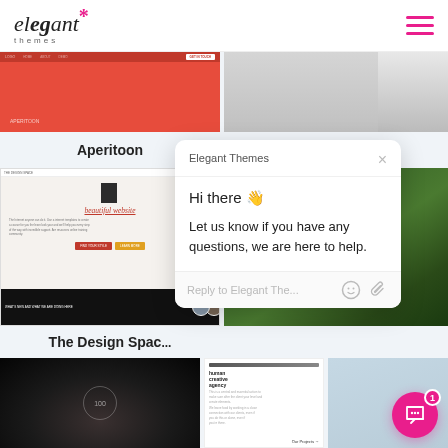[Figure (screenshot): Elegant Themes website header with logo on left and hamburger menu icon (pink) on right]
[Figure (screenshot): Partial screenshot of Aperitoon theme - red background website mockup]
[Figure (screenshot): Partial screenshot of Devlin Photos theme - grayscale person photo]
Aperitoon
Devlin Photos
[Figure (screenshot): The Design Space theme mockup showing 'beautiful website' text with book imagery and team avatars at bottom]
[Figure (screenshot): Green tropical leaves background - partial theme thumbnail]
The Design Spac...
[Figure (screenshot): Elegant Themes live chat popup with message: Hi there, Let us know if you have any questions, we are here to help. With reply input field.]
[Figure (screenshot): Dark cinematic theme thumbnail with circular element]
[Figure (screenshot): White minimal theme thumbnail with creative agency text]
[Figure (screenshot): Light blue-gray theme thumbnail]
[Figure (screenshot): Elegant Themes pink chat bubble button with badge showing 1 unread message]